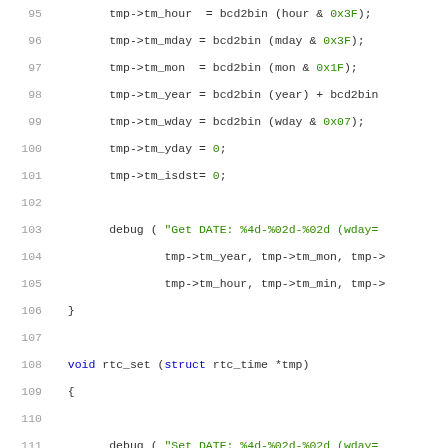[Figure (screenshot): C source code snippet showing rtc_get and rtc_set functions with line numbers 95-116. Code includes struct tm field assignments using bcd2bin conversions, debug calls, and rtc_write calls.]